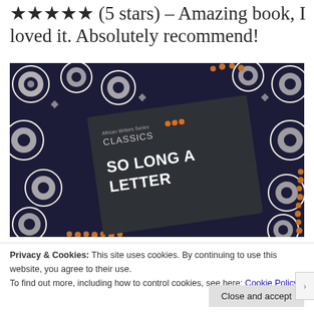★★★★★ (5 stars) – Amazing book, I loved it. Absolutely recommend!
[Figure (photo): Photo of the book 'So Long a Letter' from the African Writers Series Classics, placed on a black and white African fabric pattern with orange wooden beads]
Privacy & Cookies: This site uses cookies. By continuing to use this website, you agree to their use.
To find out more, including how to control cookies, see here: Cookie Policy
Close and accept